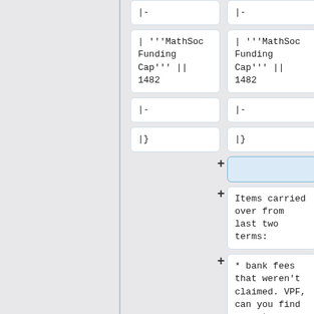|-
|-
| '''MathSoc Funding Cap''' || 1482
| '''MathSoc Funding Cap''' || 1482
|-
|-
|}
|}
Items carried over from last two terms:
* bank fees that weren't claimed. VPF, can you find amount